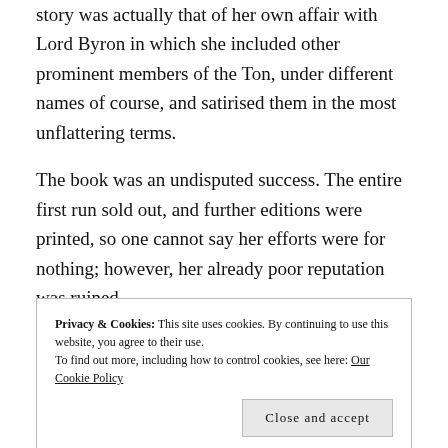story was actually that of her own affair with Lord Byron in which she included other prominent members of the Ton, under different names of course, and satirised them in the most unflattering terms.
The book was an undisputed success. The entire first run sold out, and further editions were printed, so one cannot say her efforts were for nothing; however, her already poor reputation was ruined
Privacy & Cookies: This site uses cookies. By continuing to use this website, you agree to their use.
To find out more, including how to control cookies, see here: Our Cookie Policy
Close and accept
making her love affair public. The fact